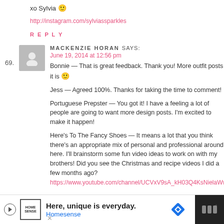xo Sylvia 🙂
http://instagram.com/sylviassparkles
REPLY
69. MACKENZIE HORAN SAYS:
June 19, 2014 at 12:56 pm
Bonnie — That is great feedback. Thank you! More outfit posts it is 🙂
Jess — Agreed 100%. Thanks for taking the time to comment!
Portuguese Prepster — You got it! I have a feeling a lot of people are going to want more design posts. I'm excited to make it happen!
Here's To The Fancy Shoes — It means a lot that you think there's an appropriate mix of personal and professional around here. I'll brainstorm some fun video ideas to work on with my brothers! Did you see the Christmas and recipe videos I did a few months ago?
https://www.youtube.com/channel/UCVxV9sA_kH03Q4KsNielaWw
REPLY
[Figure (infographic): Advertisement banner for Homesense: Here, unique is everyday.]